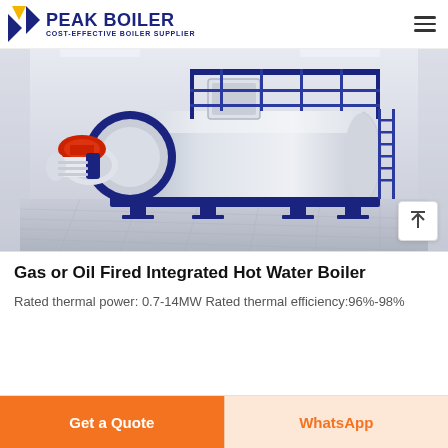PEAK BOILER — COST-EFFECTIVE BOILER SUPPLIER
[Figure (photo): Industrial gas or oil fired integrated hot water boiler — large cylindrical white and blue horizontal boiler with red burner head on left, blue steel frame and walkway on top, on a grid floor in a factory setting]
Gas or Oil Fired Integrated Hot Water Boiler
Rated thermal power: 0.7-14MW Rated thermal efficiency:96%-98%
Get a Quote
WhatsApp